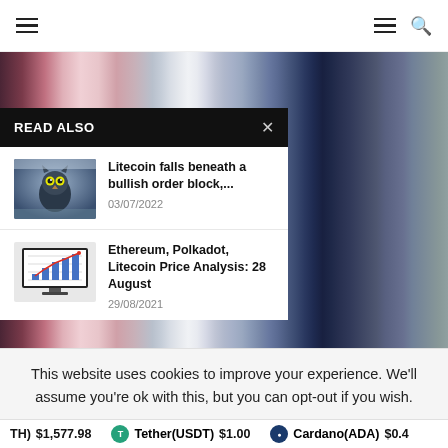Navigation bar with hamburger menu and search icon
[Figure (photo): Abstract blurred vertical color strips in purple, pink, and blue tones]
READ ALSO
[Figure (photo): Thumbnail of an owl with green eyes in snowy setting]
Litecoin falls beneath a bullish order block,...
03/07/2022
[Figure (screenshot): Thumbnail showing a computer monitor with a bar and line chart]
Ethereum, Polkadot, Litecoin Price Analysis: 28 August
29/08/2021
This website uses cookies to improve your experience. We'll assume you're ok with this, but you can opt-out if you wish.
TH) $1,577.98   Tether(USDT) $1.00   Cardano(ADA) $0.4...